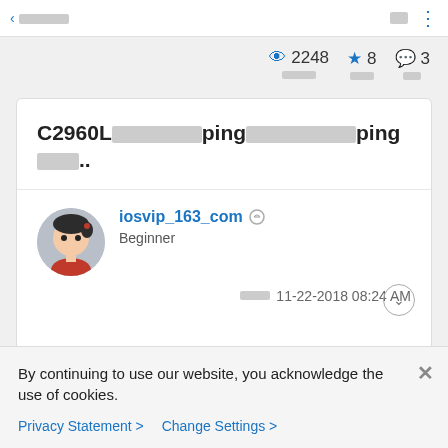< [redacted]
👁 2248  ★ 8  💬 3
C2960L[redacted]ping[redacted]ping[redacted]..
iosvip_163_com  Beginner
[redacted] 11-22-2018 08:24 AM
By continuing to use our website, you acknowledge the use of cookies.
Privacy Statement >    Change Settings >